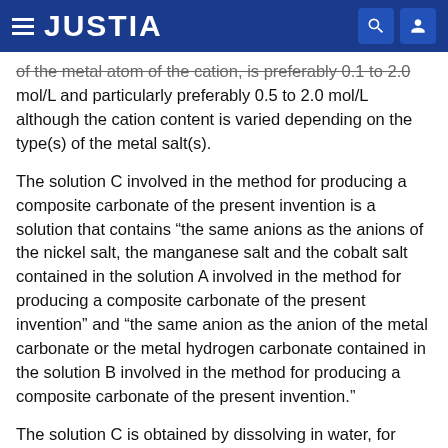JUSTIA
of the metal atom of the cation, is preferably 0.1 to 2.0 mol/L and particularly preferably 0.5 to 2.0 mol/L although the cation content is varied depending on the type(s) of the metal salt(s).
The solution C involved in the method for producing a composite carbonate of the present invention is a solution that contains “the same anions as the anions of the nickel salt, the manganese salt and the cobalt salt contained in the solution A involved in the method for producing a composite carbonate of the present invention” and “the same anion as the anion of the metal carbonate or the metal hydrogen carbonate contained in the solution B involved in the method for producing a composite carbonate of the present invention.”
The solution C is obtained by dissolving in water, for